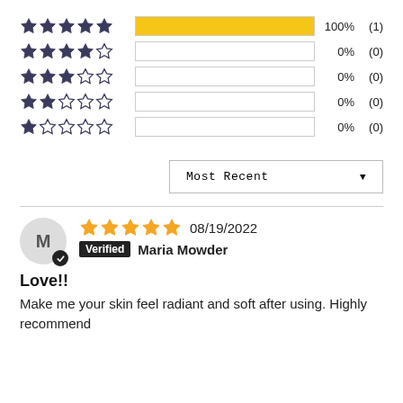[Figure (bar-chart): Star rating distribution]
Most Recent ▼
M
★★★★★ 08/19/2022
Verified  Maria Mowder
Love!!
Make me your skin feel radiant and soft after using. Highly recommend